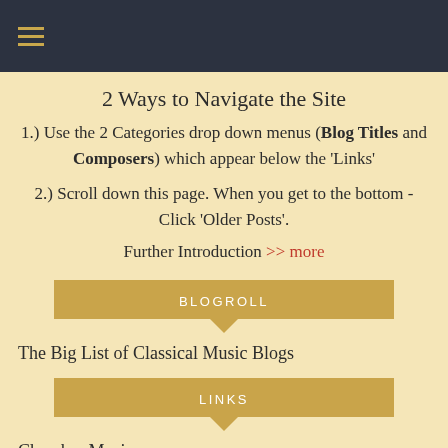≡ (hamburger menu icon)
2 Ways to Navigate the Site
1.) Use the 2 Categories drop down menus (Blog Titles and Composers) which appear below the 'Links'
2.) Scroll down this page. When you get to the bottom - Click 'Older Posts'.
Further Introduction >> more
BLOGROLL
The Big List of Classical Music Blogs
LINKS
Chamber Music